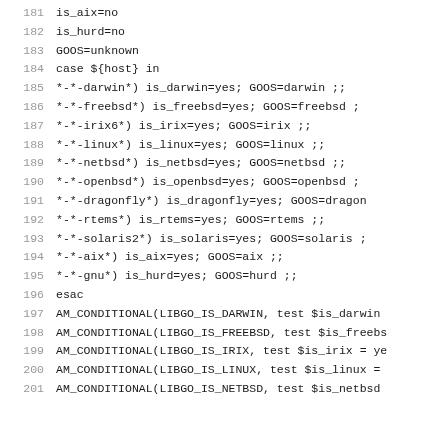181  is_aix=no
182  is_hurd=no
183  GOOS=unknown
184  case ${host} in
185    *-*-darwin*)   is_darwin=yes;  GOOS=darwin ;;
186    *-*-freebsd*)  is_freebsd=yes; GOOS=freebsd ;
187    *-*-irix6*)    is_irix=yes;    GOOS=irix ;;
188    *-*-linux*)    is_linux=yes;   GOOS=linux ;;
189    *-*-netbsd*)   is_netbsd=yes;  GOOS=netbsd ;;
190    *-*-openbsd*)  is_openbsd=yes; GOOS=openbsd ;
191    *-*-dragonfly*) is_dragonfly=yes; GOOS=dragonf
192    *-*-rtems*)    is_rtems=yes;   GOOS=rtems ;;
193    *-*-solaris2*) is_solaris=yes; GOOS=solaris ;
194    *-*-aix*)      is_aix=yes;     GOOS=aix ;;
195    *-*-gnu*)      is_hurd=yes;    GOOS=hurd ;;
196  esac
197  AM_CONDITIONAL(LIBGO_IS_DARWIN, test $is_darwin
198  AM_CONDITIONAL(LIBGO_IS_FREEBSD, test $is_freebs
199  AM_CONDITIONAL(LIBGO_IS_IRIX, test $is_irix = ye
200  AM_CONDITIONAL(LIBGO_IS_LINUX, test $is_linux =
201  AM_CONDITIONAL(LIBGO_IS_NETBSD, test $is_netbsd